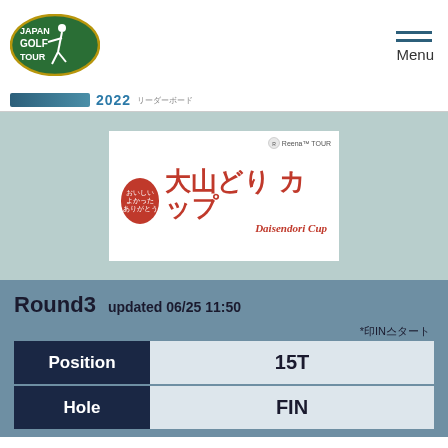[Figure (logo): Japan Golf Tour logo - green oval with golfer silhouette and text JAPAN GOLF TOUR]
[Figure (logo): Menu icon with three horizontal lines and Menu text]
[Figure (logo): Sponsor bar with logo and 2022 year text]
[Figure (logo): Daisendori Cup tournament logo - red circle with Japanese text and Daisendori Cup branding, Reena TOUR badge]
Round3  updated 06/25 11:50
*印INスタート
| Position | 15T |
| --- | --- |
| Hole | FIN |